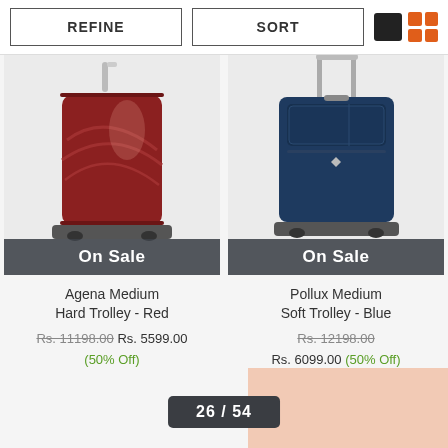REFINE
SORT
[Figure (screenshot): Red hard shell medium trolley luggage with swirl pattern design]
On Sale
Agena Medium Hard Trolley - Red
Rs. 11198.00 Rs. 5599.00 (50% Off)
[Figure (screenshot): Navy blue soft medium trolley luggage with front pocket]
On Sale
Pollux Medium Soft Trolley - Blue
Rs. 12198.00 Rs. 6099.00 (50% Off)
26 / 54